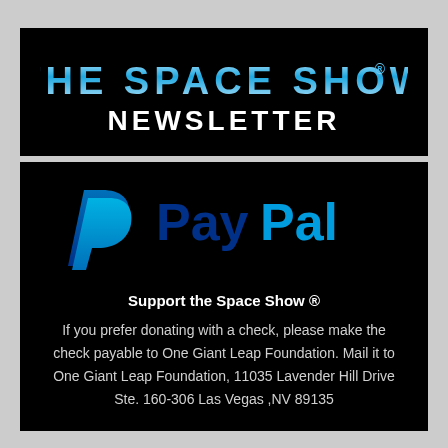[Figure (logo): The Space Show Newsletter banner logo with cyan/blue gradient text on black background. Title reads THE SPACE SHOW® NEWSLETTER.]
[Figure (logo): PayPal logo in blue and light blue on black background.]
Support the Space Show ®
If you prefer donating with a check, please make the check payable to One Giant Leap Foundation. Mail it to One Giant Leap Foundation, 11035 Lavender Hill Drive Ste. 160-306 Las Vegas ,NV 89135